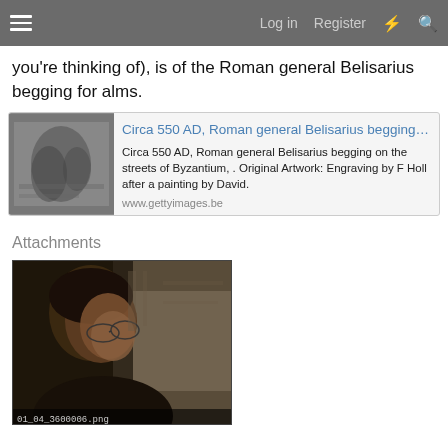Log in  Register
you're thinking of), is of the Roman general Belisarius begging for alms.
[Figure (screenshot): Link card preview showing 'Circa 550 AD, Roman general Belisarius begging...' with a small engraving thumbnail, description text, and www.gettyimages.be URL]
Attachments
[Figure (photo): Photo of a man with glasses looking downward, dimly lit, with a stone or textured background. Filename label at bottom: 01_04_3600006.png]